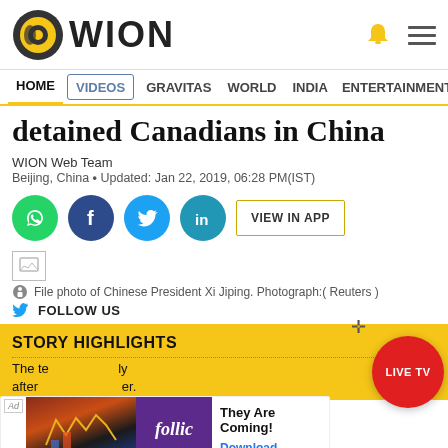[Figure (logo): WION logo with circular icon on left and WION text in bold]
HOME  VIDEOS  GRAVITAS  WORLD  INDIA  ENTERTAINMENT  SPORTS
detained Canadians in China
WION Web Team
Beijing, China • Updated: Jan 22, 2019, 06:28 PM(IST)
[Figure (infographic): Social share buttons: WhatsApp, Facebook, Twitter, LinkedIn, VIEW IN APP button]
[Figure (photo): File photo image placeholder]
File photo of Chinese President Xi Jiping. Photograph:( Reuters )
FOLLOW US
STORY HIGHLIGHTS
The to...ly
after...er.